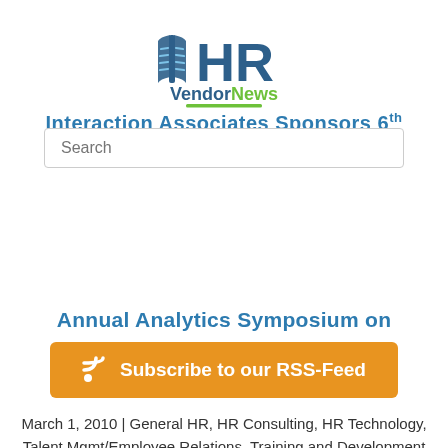[Figure (logo): HR VendorNews logo with open book icon and green underline]
Annual Analytics Symposium on
[Figure (other): Subscribe to our RSS-Feed orange button with RSS icon]
March 1, 2010 | General HR, HR Consulting, HR Technology, Talent Mgmt/Employee Relations, Training and Development
Cambridge, MA — Interaction Associates has announced it will sponsor the KnowledgeAdvisors